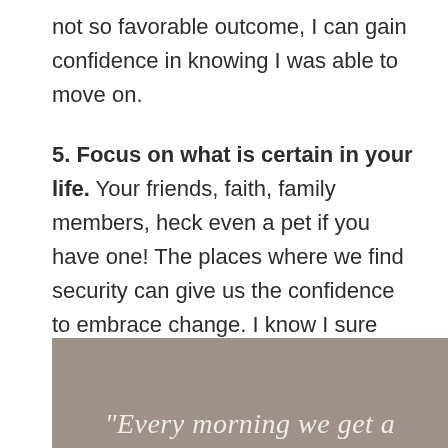not so favorable outcome, I can gain confidence in knowing I was able to move on.
5. Focus on what is certain in your life. Your friends, faith, family members, heck even a pet if you have one! The places where we find security can give us the confidence to embrace change. I know I sure couldn't do it alone.
[Figure (other): Gray/taupe background block with italic serif text beginning: “Every morning we get a”]